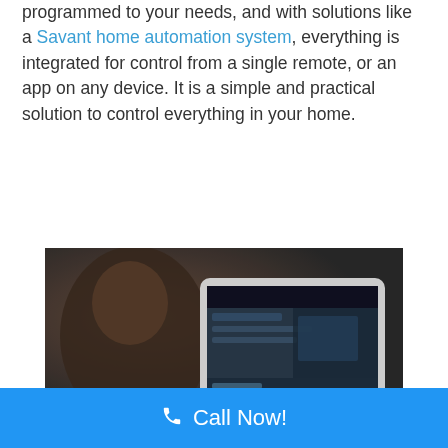programmed to your needs, and with solutions like a Savant home automation system, everything is integrated for control from a single remote, or an app on any device. It is a simple and practical solution to control everything in your home.
[Figure (photo): Person looking at a tablet/smart home control panel device, blurred background]
Call Now!